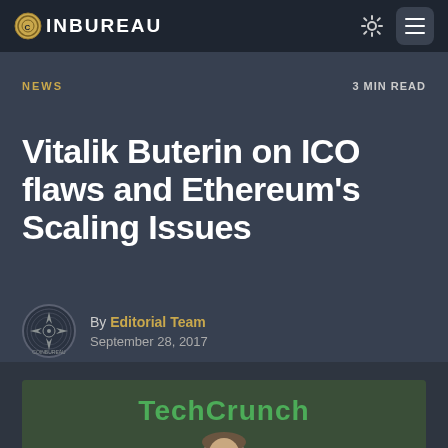COINBUREAU
NEWS
3 MIN READ
Vitalik Buterin on ICO flaws and Ethereum's Scaling Issues
By Editorial Team
September 28, 2017
[Figure (photo): Photo of Vitalik Buterin at TechCrunch event, showing his face and upper body against a green TechCrunch branded background]